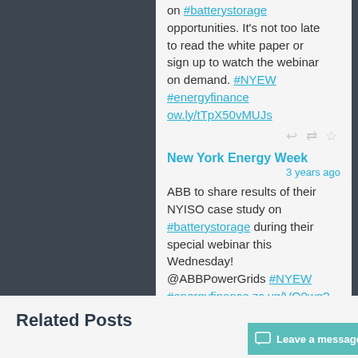on #batterystorage opportunities. It's not too late to read the white paper or sign up to watch the webinar on demand. #NYEW #energyfinance ow.ly/tTpX50vMUJs
New York Energy Week
3 years ago
ABB to share results of their NYISO case study on #batterystorage during their special webinar this Wednesday! @ABBPowerGrids #NYEW #energyfinance zc.vg/VQ0wg?m=0
Related Posts
Leave a message